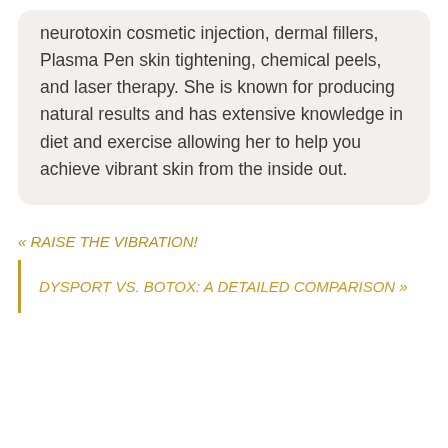neurotoxin cosmetic injection, dermal fillers, Plasma Pen skin tightening, chemical peels, and laser therapy. She is known for producing natural results and has extensive knowledge in diet and exercise allowing her to help you achieve vibrant skin from the inside out.
« RAISE THE VIBRATION!
DYSPORT VS. BOTOX: A DETAILED COMPARISON »